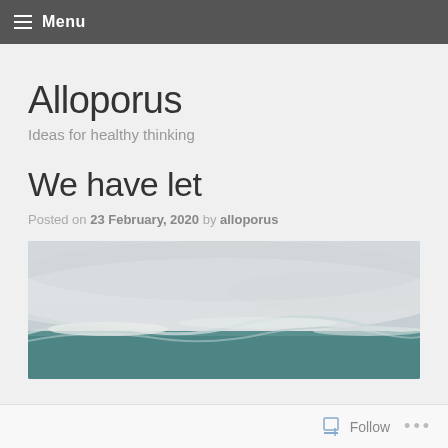Menu
Alloporus
Ideas for healthy thinking
We have let
Posted on 23 February, 2020 by alloporus
[Figure (photo): Ocean waves with white foam and teal-green water crashing, misty spray in the air]
Follow ...